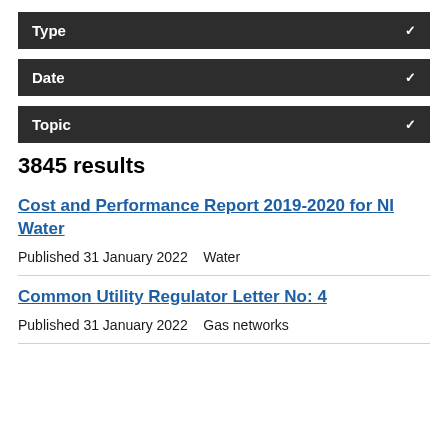Type
Date
Topic
3845 results
Cost and Performance Report 2019-2020 for NI Water
Published 31 January 2022    Water
Common Utility Regulator Letter No: 4
Published 31 January 2022    Gas networks